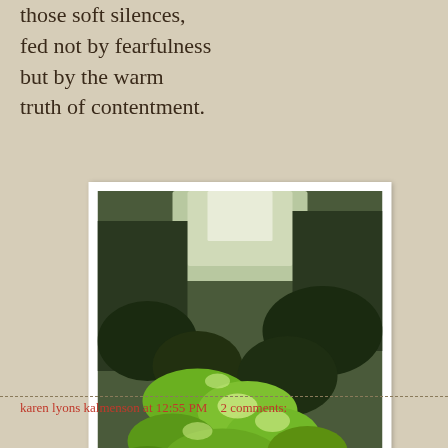those soft silences,
fed not by fearfulness
but by the warm
truth of contentment.
[Figure (photo): A photograph of dense green ivy and leaves covering the ground, with light filtering through from above and trees/shrubs in the background. The image has a white border/frame.]
karen lyons kalmenson at 12:55 PM   2 comments: